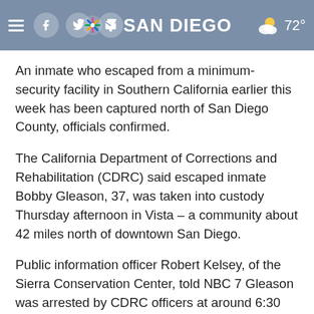NBC 7 San Diego
An inmate who escaped from a minimum-security facility in Southern California earlier this week has been captured north of San Diego County, officials confirmed.
The California Department of Corrections and Rehabilitation (CDRC) said escaped inmate Bobby Gleason, 37, was taken into custody Thursday afternoon in Vista – a community about 42 miles north of downtown San Diego.
Public information officer Robert Kelsey, of the Sierra Conservation Center, told NBC 7 Gleason was arrested by CDRC officers at around 6:30 p.m. after a short foot pursuit.